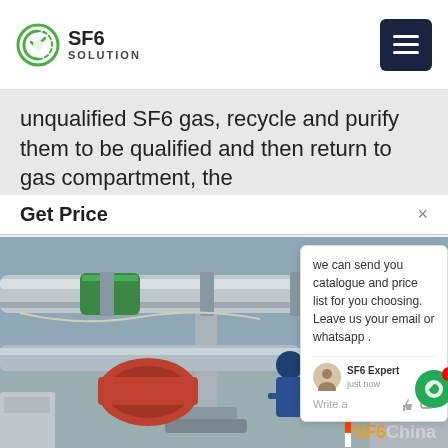SF6 SOLUTION
unqualified SF6 gas, recycle and purify them to be qualified and then return to gas compartment, the
Get Price
[Figure (photo): Industrial SF6 gas equipment installation at a power substation, showing large grey pipes, flanges, and workers on site. Watermark reads SF6China.]
we can send you catalogue and price list for you choosing. Leave us your email or whatsapp . SF6 Expert  just now  Write a